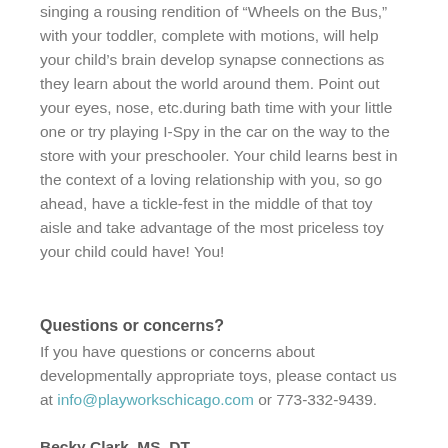singing a rousing rendition of “Wheels on the Bus,” with your toddler, complete with motions, will help your child’s brain develop synapse connections as they learn about the world around them. Point out your eyes, nose, etc.during bath time with your little one or try playing I-Spy in the car on the way to the store with your preschooler. Your child learns best in the context of a loving relationship with you, so go ahead, have a tickle-fest in the middle of that toy aisle and take advantage of the most priceless toy your child could have! You!
Questions or concerns?
If you have questions or concerns about developmentally appropriate toys, please contact us at info@playworkschicago.com or 773-332-9439.
Becky Clark, MS, DT